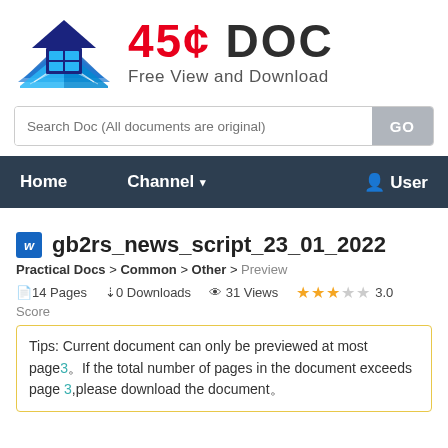[Figure (logo): 45¢ DOC website logo with house/book icon in blue and text '45¢ DOC Free View and Download']
[Figure (screenshot): Search bar with placeholder 'Search Doc (All documents are original)' and GO button]
Home   Channel ▾   User
gb2rs_news_script_23_01_2022
Practical Docs > Common > Other > Preview
14 Pages   0 Downloads   31 Views   ★★★☆☆ 3.0 Score
Tips: Current document can only be previewed at most page 3. If the total number of pages in the document exceeds page 3, please download the document.